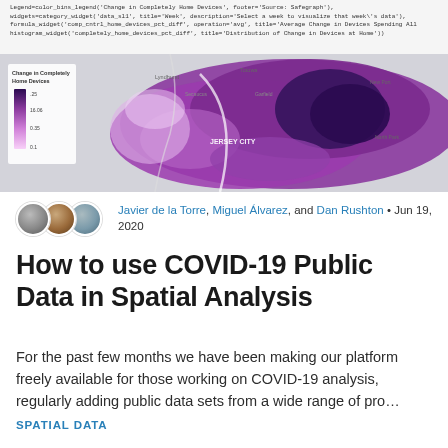[Figure (screenshot): Code snippet showing Python/widget code for a COVID-19 home devices dashboard with legend, widgets, map, formula, and histogram calls.]
[Figure (map): Choropleth map showing 'Change in Completely Home Devices' in the Jersey City / NYC metro area, with purple shading indicating changes, and a color legend on the left side.]
Javier de la Torre, Miguel Álvarez, and Dan Rushton • Jun 19, 2020
How to use COVID-19 Public Data in Spatial Analysis
For the past few months we have been making our platform freely available for those working on COVID-19 analysis, regularly adding public data sets from a wide range of pro…
SPATIAL DATA